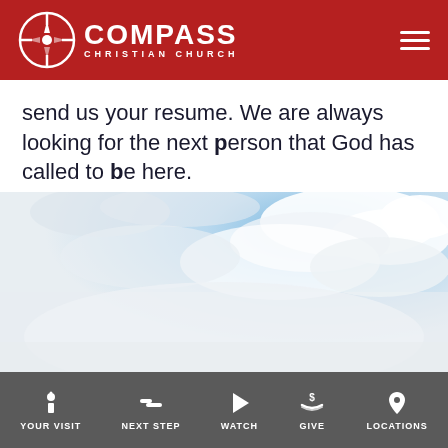COMPASS CHRISTIAN CHURCH
send us your resume. We are always looking for the next person that God has called to be here.
[Figure (photo): Sky with white clouds and blue sky visible in the upper right, fading to white mist in the lower portion]
YOUR VISIT | NEXT STEP | WATCH | GIVE | LOCATIONS